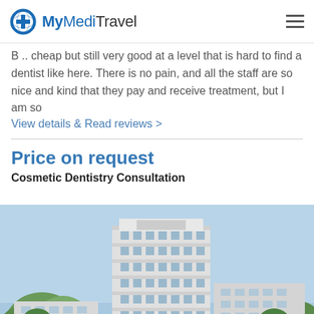MyMediTravel
B .. cheap but still very good at a level that is hard to find a dentist like here. There is no pain, and all the staff are so nice and kind that they pay and receive treatment, but I am so
View details & Read reviews  >
Price on request
Cosmetic Dentistry Consultation
[Figure (photo): Exterior photo of a multi-story hospital building with a tall tower block and lower wings, surrounded by trees with spring foliage against a blue sky.]